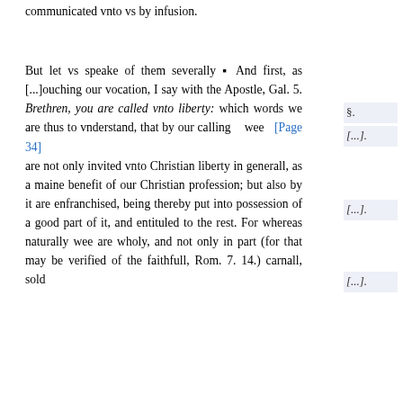communicated vnto vs by infusion.
But let vs speake of them severally ▪ And first, as [...]ouching our vocation, I say with the Apostle, Gal. 5. Brethren, you are called vnto liberty: which words we are thus to vnderstand, that by our calling wee [Page 34] are not only invited vnto Christian liberty in generall, as a maine benefit of our Christian profession; but also by it are enfranchised, being thereby put into possession of a good part of it, and entituled to the rest. For whereas naturally wee are wholy, and not only in part (for that may be verified of the faithfull, Rom. 7. 14.) carnall, sold